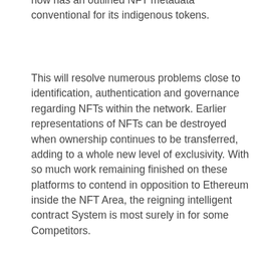now has an outlined NFT metadata conventional for its indigenous tokens.
This will resolve numerous problems close to identification, authentication and governance regarding NFTs within the network. Earlier representations of NFTs can be destroyed when ownership continues to be transferred, adding to a whole new level of exclusivity. With so much work remaining finished on these platforms to contend in opposition to Ethereum inside the NFT Area, the reigning intelligent contract System is most surely in for some Competitors.